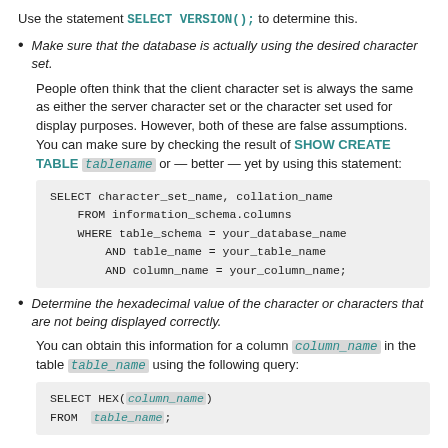Use the statement SELECT VERSION(); to determine this.
Make sure that the database is actually using the desired character set.
People often think that the client character set is always the same as either the server character set or the character set used for display purposes. However, both of these are false assumptions. You can make sure by checking the result of SHOW CREATE TABLE tablename or — better — yet by using this statement:
Determine the hexadecimal value of the character or characters that are not being displayed correctly.
You can obtain this information for a column column_name in the table table_name using the following query: